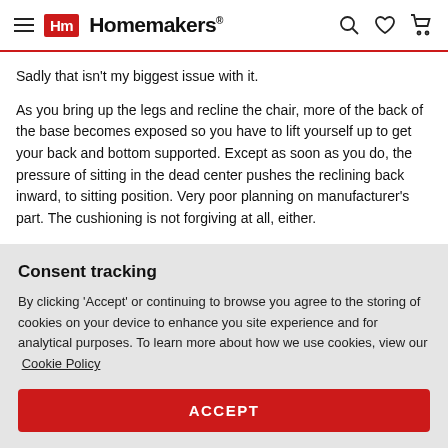Homemakers
Sadly that isn't my biggest issue with it.
As you bring up the legs and recline the chair, more of the back of the base becomes exposed so you have to lift yourself up to get your back and bottom supported. Except as soon as you do, the pressure of sitting in the dead center pushes the reclining back inward, to sitting position. Very poor planning on manufacturer's part. The cushioning is not forgiving at all, either.
The only good thing about this recliner is that the arm rests zip
Consent tracking
By clicking 'Accept' or continuing to browse you agree to the storing of cookies on your device to enhance you site experience and for analytical purposes. To learn more about how we use cookies, view our  Cookie Policy
ACCEPT